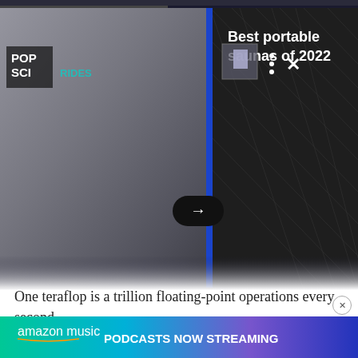[Figure (screenshot): Advertisement overlay showing a video/slideshow of portable saunas with Pop Sci logo, navigation controls, a forward arrow button, and text 'Best portable saunas of 2022' on a dark background.]
One teraflop is a trillion floating-point operations every second.
“There was a time, when if someone said ‘teraflop,’” says Brandon Lucia, an assistant professor of electrical and computer engineering at Carnegie Mellon University, “you would expect them to be talking about a supercomputer that had many, many processor chips.”
[Figure (screenshot): Amazon Music advertisement banner: 'amazon music PODCASTS NOW STREAMING' on a colorful gradient background.]